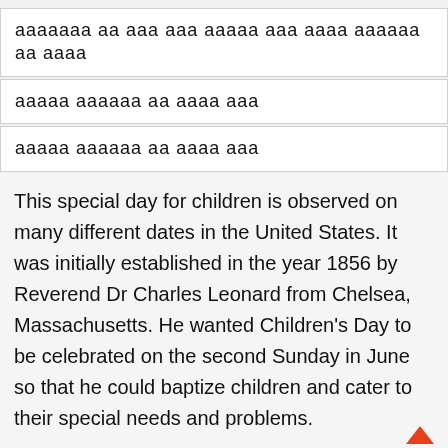ааааааа аа ааа ааа ааааа ааа аааа аааааа аа аааа
ааааа аааааа аа аааа ааа
ааааа аааааа аа аааа ааа
This special day for children is observed on many different dates in the United States. It was initially established in the year 1856 by Reverend Dr Charles Leonard from Chelsea, Massachusetts. He wanted Children's Day to be celebrated on the second Sunday in June so that he could baptize children and cater to their special needs and problems.
With time, the date changed to the second Sunday of October. Later on, World Children's Day began to be celebrated by the United Nations on 20 November, leading to two different dates related to the importance of childre So, due to these changes in dates, many people still